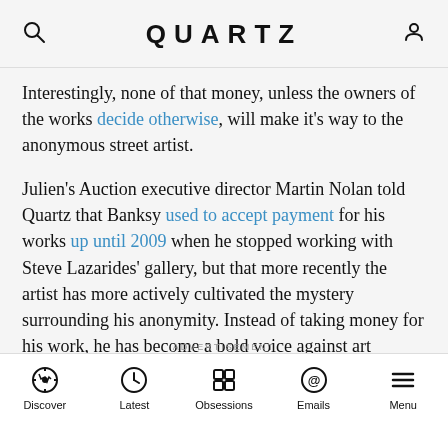QUARTZ
Interestingly, none of that money, unless the owners of the works decide otherwise, will make it's way to the anonymous street artist.
Julien's Auction executive director Martin Nolan told Quartz that Banksy used to accept payment for his works up until 2009 when he stopped working with Steve Lazarides' gallery, but that more recently the artist has more actively cultivated the mystery surrounding his anonymity. Instead of taking money for his work, he has become a bold voice against art criticism and monetizing his work. In October, during his stay in New York, he (still anonymously)  offered his art in a Central Park kiosk for just $60.
Discover | Latest | Obsessions | Emails | Menu